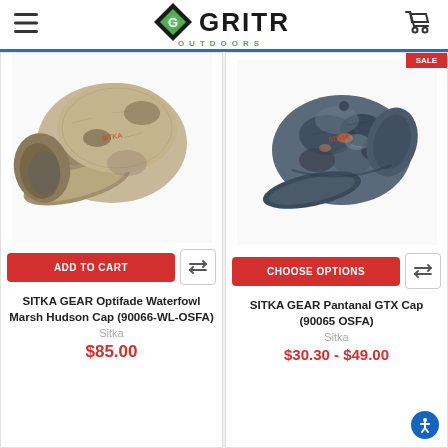GritR Outdoors
[Figure (photo): SITKA GEAR Optifade Waterfowl Marsh Hudson Cap product photo - camouflage cap with ear flaps]
ADD TO CART
SITKA GEAR Optifade Waterfowl Marsh Hudson Cap (90066-WL-OSFA)
Sitka
$85.00
[Figure (photo): SITKA GEAR Pantanal GTX Cap product photo - dark camouflage baseball cap]
CHOOSE OPTIONS
SITKA GEAR Pantanal GTX Cap (90065 OSFA)
Sitka
$30.30 - $49.00